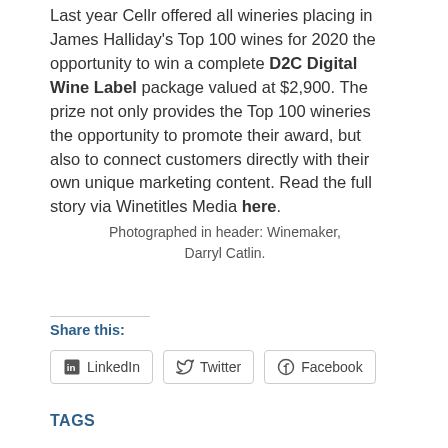Last year Cellr offered all wineries placing in James Halliday's Top 100 wines for 2020 the opportunity to win a complete D2C Digital Wine Label package valued at $2,900. The prize not only provides the Top 100 wineries the opportunity to promote their award, but also to connect customers directly with their own unique marketing content. Read the full story via Winetitles Media here.
Photographed in header: Winemaker, Darryl Catlin.
Share this:
LinkedIn  Twitter  Facebook
TAGS